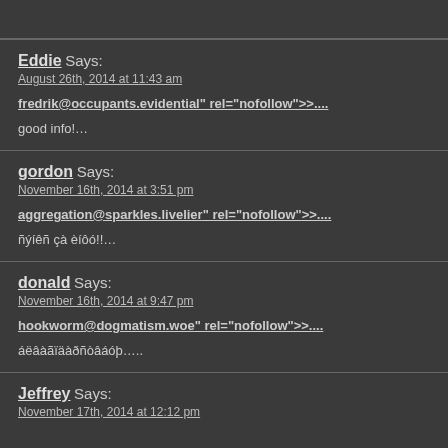Eddie Says:
August 26th, 2014 at 11:43 am
fredrik@occupants.evidential" rel="nofollow">....
good info!…
gordon Says:
November 16th, 2014 at 3:51 pm
aggregation@sparkles.livelier" rel="nofollow">....
ñýíêñ çà èíôó!!…
donald Says:
November 16th, 2014 at 9:47 pm
hookworm@dogmatism.woe" rel="nofollow">....
áëâàãïäàðñòâáóþ….
Jeffrey Says:
November 17th, 2014 at 12:12 pm